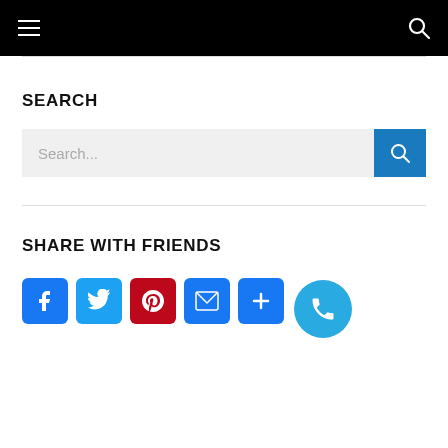Navigation bar with hamburger menu and search icon
SEARCH
[Figure (screenshot): Search input bar with placeholder text 'Search...' and a blue search button with magnifying glass icon]
SHARE WITH FRIENDS
[Figure (infographic): Social sharing icons: Facebook (blue), Twitter (light blue), Pinterest (red), Email (blue), Share/Plus (blue), Phone FAB button (cyan circle)]